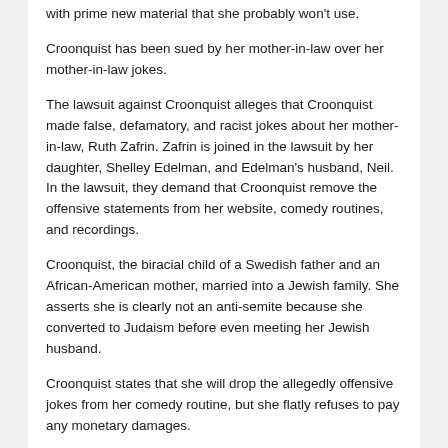with prime new material that she probably won't use.
Croonquist has been sued by her mother-in-law over her mother-in-law jokes.
The lawsuit against Croonquist alleges that Croonquist made false, defamatory, and racist jokes about her mother-in-law, Ruth Zafrin. Zafrin is joined in the lawsuit by her daughter, Shelley Edelman, and Edelman's husband, Neil. In the lawsuit, they demand that Croonquist remove the offensive statements from her website, comedy routines, and recordings.
Croonquist, the biracial child of a Swedish father and an African-American mother, married into a Jewish family. She asserts she is clearly not an anti-semite because she converted to Judaism before even meeting her Jewish husband.
Croonquist states that she will drop the allegedly offensive jokes from her comedy routine, but she flatly refuses to pay any monetary damages.